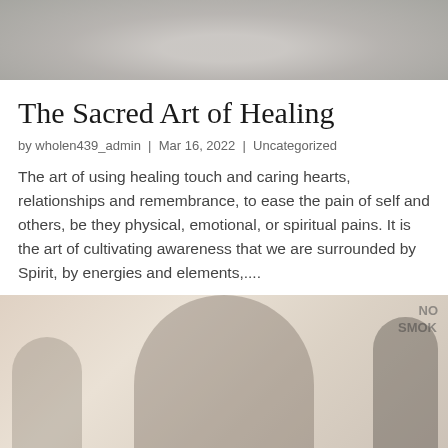[Figure (photo): Top banner image showing a decorative or spiritual figure with sparkly/beaded elements, in muted grayscale tones]
The Sacred Art of Healing
by wholen439_admin | Mar 16, 2022 | Uncategorized
The art of using healing touch and caring hearts, relationships and remembrance, to ease the pain of self and others, be they physical, emotional, or spiritual pains. It is the art of cultivating awareness that we are surrounded by Spirit, by energies and elements,...
[Figure (photo): Photo of a smiling woman with braided hair, hand near her face, appearing joyful. Background shows a brick wall with a NO SMOKING sign and another person in the background. Image has a warm, faded/muted tone.]